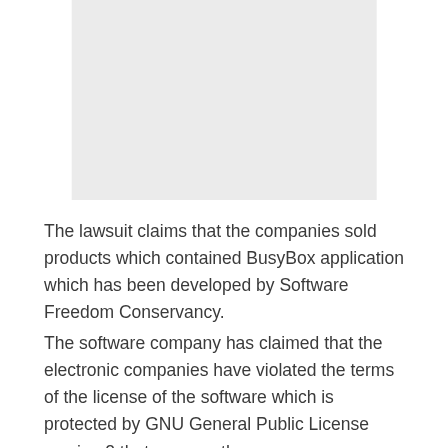[Figure (other): Gray rectangular placeholder image]
The lawsuit claims that the companies sold products which contained BusyBox application which has been developed by Software Freedom Conservancy.
The software company has claimed that the electronic companies have violated the terms of the license of the software which is protected by GNU General Public License version 2 that governs the use